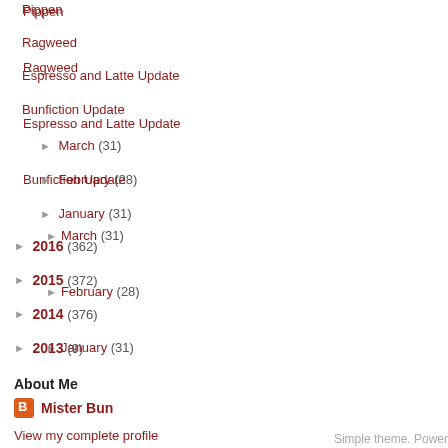Pippen
Ragweed
Espresso and Latte Update
Bunfiction Update
► March (31)
► February (28)
► January (31)
► 2016 (362)
► 2015 (372)
► 2014 (376)
► 2013 (9)
About Me
Mister Bun
View my complete profile
Simple theme. Power